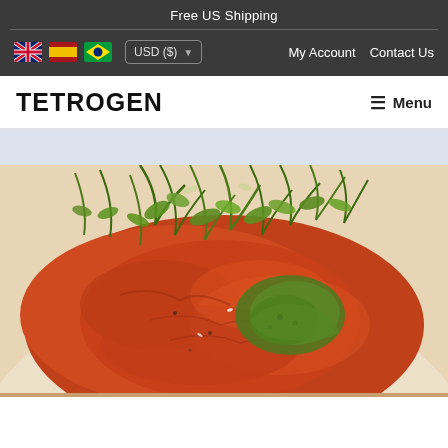Free US Shipping
USD ($)   My Account   Contact Us
TETROGEN
Menu
[Figure (photo): Close-up photo of a food dish with red/tomato-based sauce, green herb sauce/pesto, and fresh greens/arugula on top, served on a white plate]